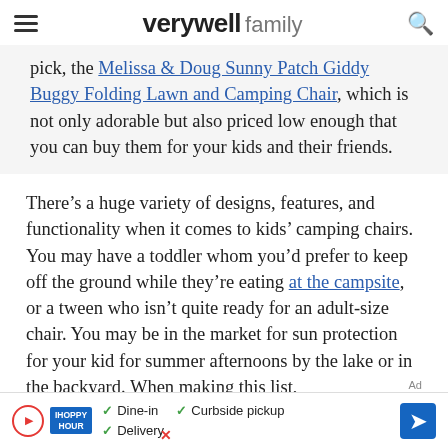verywell family
pick, the Melissa & Doug Sunny Patch Giddy Buggy Folding Lawn and Camping Chair, which is not only adorable but also priced low enough that you can buy them for your kids and their friends.
There’s a huge variety of designs, features, and functionality when it comes to kids’ camping chairs. You may have a toddler whom you’d prefer to keep off the ground while they’re eating at the campsite, or a tween who isn’t quite ready for an adult-size chair. You may be in the market for sun protection for your kid for summer afternoons by the lake or in the backyard. When making this list,
[Figure (other): Advertisement banner for IHOPPY HOUR with Dine-in, Curbside pickup, and Delivery options with a blue arrow button]